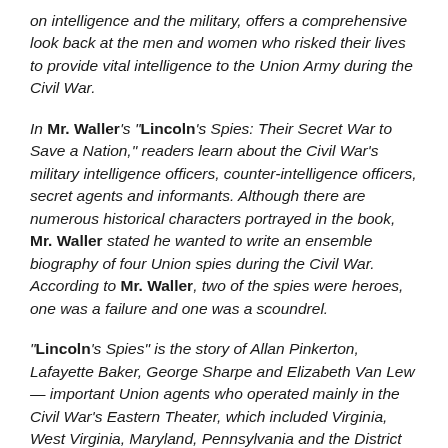on intelligence and the military, offers a comprehensive look back at the men and women who risked their lives to provide vital intelligence to the Union Army during the Civil War.
In Mr. Waller's "Lincoln's Spies: Their Secret War to Save a Nation," readers learn about the Civil War's military intelligence officers, counter-intelligence officers, secret agents and informants. Although there are numerous historical characters portrayed in the book, Mr. Waller stated he wanted to write an ensemble biography of four Union spies during the Civil War. According to Mr. Waller, two of the spies were heroes, one was a failure and one was a scoundrel.
"Lincoln's Spies" is the story of Allan Pinkerton, Lafayette Baker, George Sharpe and Elizabeth Van Lew — important Union agents who operated mainly in the Civil War's Eastern Theater, which included Virginia, West Virginia, Maryland, Pennsylvania and the District of Columbia. The U.S. government, of course, ran intelligence operations elsewhere — against Confederates in the Deep South and